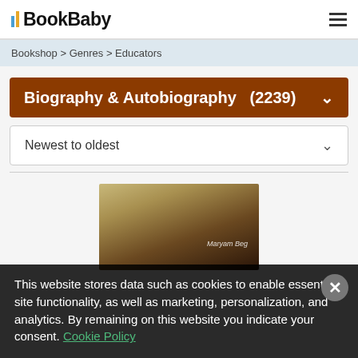BookBaby
Bookshop > Genres > Educators
Biography & Autobiography  (2239)
Newest to oldest
[Figure (photo): Partial view of a book cover with a sepia/dark toned image and text 'Maryam Beg']
This website stores data such as cookies to enable essential site functionality, as well as marketing, personalization, and analytics. By remaining on this website you indicate your consent. Cookie Policy